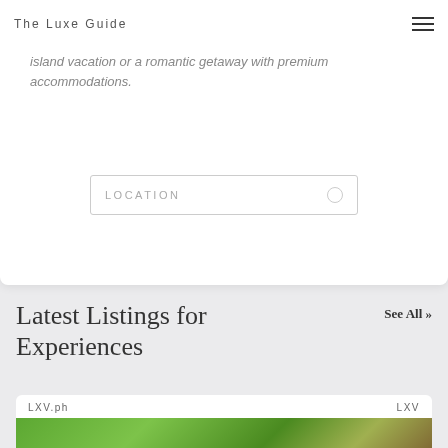The Luxe Guide
island vacation or a romantic getaway with premium accommodations.
LOCATION
Latest Listings for Experiences
See All »
LXV.ph
LXV
[Figure (photo): Green tropical foliage photo at the bottom of the listing card]